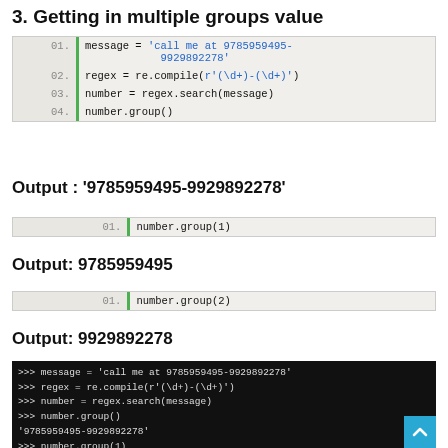3. Getting in multiple groups value
[Figure (screenshot): Code block showing: 01. message = 'call me at 9785959495-9929892278'  02. regex = re.compile(r'(\d+)-(\d+)')  03. number = regex.search(message)  04. number.group()]
Output : '9785959495-9929892278'
[Figure (screenshot): Code block showing: 01. number.group(1)]
Output: 9785959495
[Figure (screenshot): Code block showing: 01. number.group(2)]
Output: 9929892278
[Figure (screenshot): Terminal showing execution: >>> message = 'call me at 9785959495-9929892278'  >>> regex = re.compile(r'(\d+)-(\d+)')  >>> number = regex.search(message)  >>> number.group()  '9785959495-9929892278'  >>> number.group(1)  '9785959495']